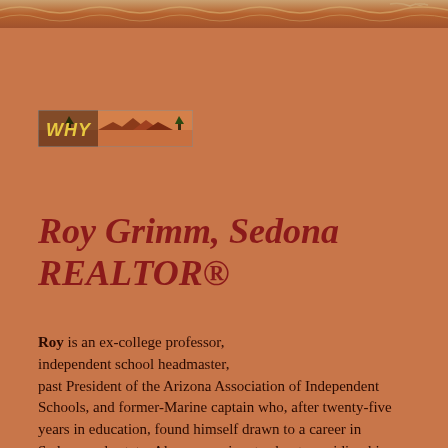[Figure (illustration): Decorative top banner with ornate pattern in brown/tan tones]
[Figure (illustration): WHY banner with red rock Sedona landscape photo and 'WHY' text in yellow]
Roy Grimm, Sedona REALTOR®
Roy is an ex-college professor, independent school headmaster, past President of the Arizona Association of Independent Schools, and former-Marine captain who, after twenty-five years in education, found himself drawn to a career in Sedona real estate. Always passionate about providing his clients with beneficial services well beyond those of conventional real estate agents, Roy soon committed himself exclusively to Buyer's Agency.